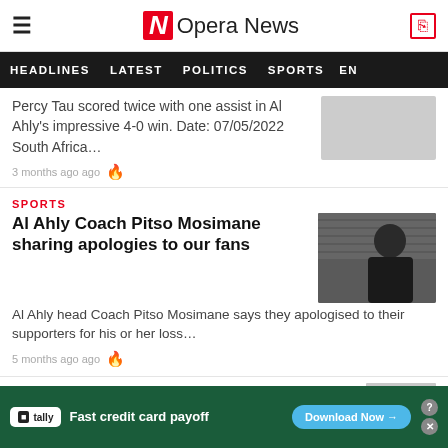Opera News
HEADLINES  LATEST  POLITICS  SPORTS  EN
Percy Tau scored twice with one assist in Al Ahly's impressive 4-0 win. Date: 07/05/2022 South Africa…
3 months ago ago
SPORTS
Al Ahly Coach Pitso Mosimane sharing apologies to our fans
[Figure (photo): Photo of Al Ahly coach Pitso Mosimane standing in front of a building with horizontal blinds, wearing a dark jacket with Al Ahly badge]
Al Ahly head Coach Pitso Mosimane says they apologised to their supporters for his or her loss…
5 months ago ago
SPORTS
[Figure (screenshot): Advertisement for Tally app: Fast credit card payoff, with Download Now button]